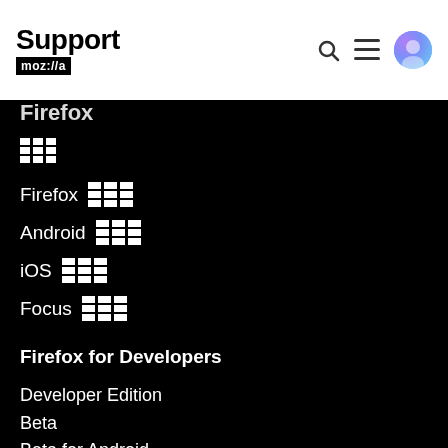Support mozilla // a
Firefox
Firefox (grid icon)
Firefox (grid icon)
Android (grid icon)
iOS (grid icon)
Focus (grid icon)
Firefox for Developers
Developer Edition
Beta
Beta for Android